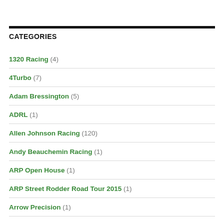CATEGORIES
1320 Racing (4)
4Turbo (7)
Adam Bressington (5)
ADRL (1)
Allen Johnson Racing (120)
Andy Beauchemin Racing (1)
ARP Open House (1)
ARP Street Rodder Road Tour 2015 (1)
Arrow Precision (1)